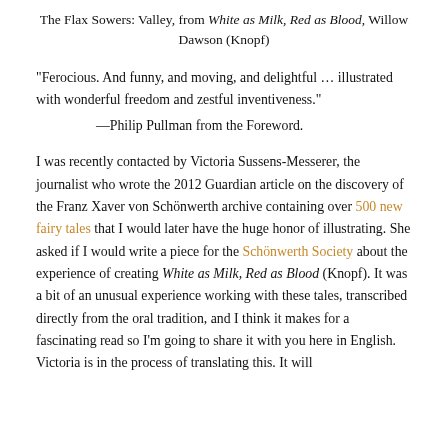The Flax Sowers: Valley, from White as Milk, Red as Blood, Willow Dawson (Knopf)
“Ferocious. And funny, and moving, and delightful … illustrated with wonderful freedom and zestful inventiveness."
—Philip Pullman from the Foreword.
I was recently contacted by Victoria Sussens-Messerer, the journalist who wrote the 2012 Guardian article on the discovery of the Franz Xaver von Schönwerth archive containing over 500 new fairy tales that I would later have the huge honor of illustrating. She asked if I would write a piece for the Schönwerth Society about the experience of creating White as Milk, Red as Blood (Knopf). It was a bit of an unusual experience working with these tales, transcribed directly from the oral tradition, and I think it makes for a fascinating read so I'm going to share it with you here in English. Victoria is in the process of translating this. It will…